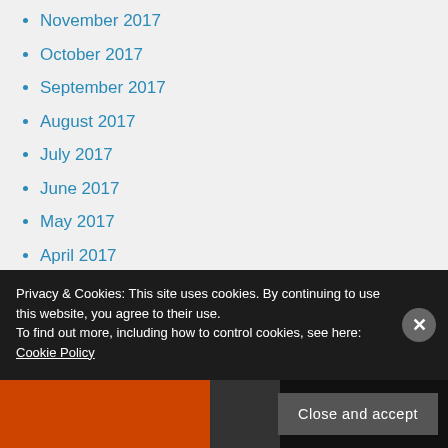November 2017
October 2017
September 2017
August 2017
July 2017
June 2017
May 2017
April 2017
March 2017
February 2017
January 2017
December 2016
Privacy & Cookies: This site uses cookies. By continuing to use this website, you agree to their use. To find out more, including how to control cookies, see here: Cookie Policy
Close and accept